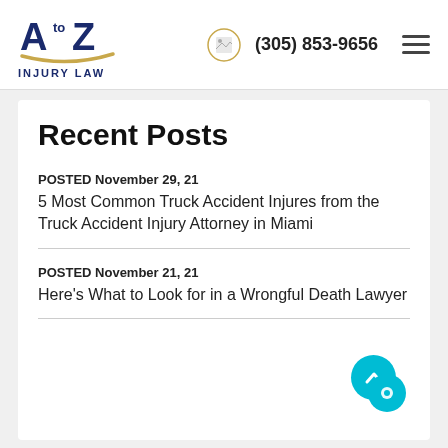[Figure (logo): A to Z Injury Law logo with gold underline and dark blue text]
(305) 853-9656
Recent Posts
POSTED November 29, 21
5 Most Common Truck Accident Injures from the Truck Accident Injury Attorney in Miami
POSTED November 21, 21
Here's What to Look for in a Wrongful Death Lawyer